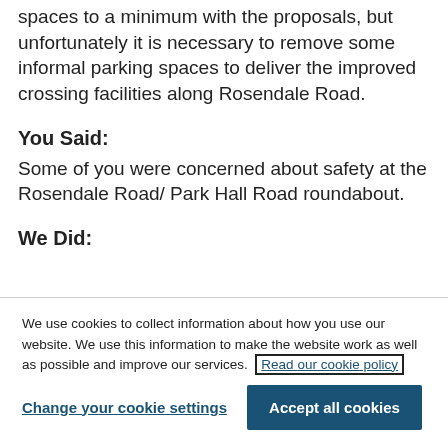spaces to a minimum with the proposals, but unfortunately it is necessary to remove some informal parking spaces to deliver the improved crossing facilities along Rosendale Road.
You Said:
Some of you were concerned about safety at the Rosendale Road/ Park Hall Road roundabout.
We Did:
We use cookies to collect information about how you use our website. We use this information to make the website work as well as possible and improve our services. Read our cookie policy
Change your cookie settings | Accept all cookies